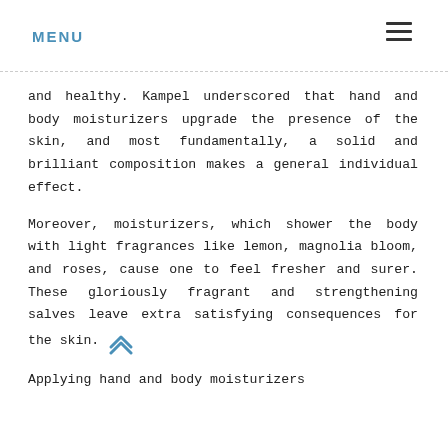MENU
and healthy. Kampel underscored that hand and body moisturizers upgrade the presence of the skin, and most fundamentally, a solid and brilliant composition makes a general individual effect.
Moreover, moisturizers, which shower the body with light fragrances like lemon, magnolia bloom, and roses, cause one to feel fresher and surer. These gloriously fragrant and strengthening salves leave extra satisfying consequences for the skin.
Applying hand and body moisturizers